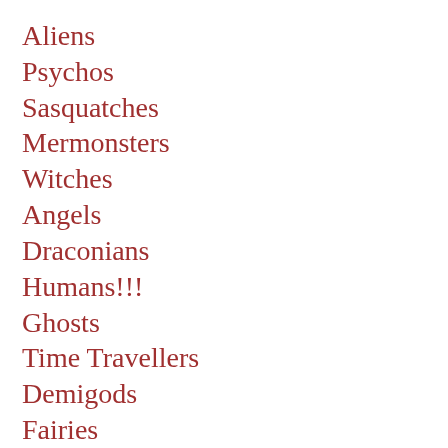Aliens
Psychos
Sasquatches
Mermonsters
Witches
Angels
Draconians
Humans!!!
Ghosts
Time Travellers
Demigods
Fairies
Shapeshifters
Mummies
Druids